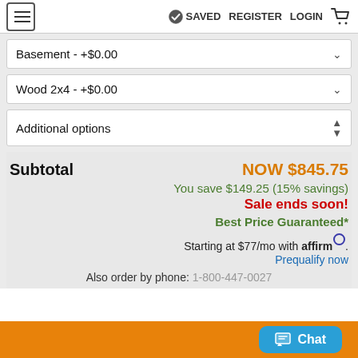≡  ✓ SAVED  REGISTER  LOGIN  🛒
Basement - +$0.00
Wood 2x4 - +$0.00
Additional options
Subtotal   NOW $845.75
You save $149.25 (15% savings)
Sale ends soon!
Best Price Guaranteed*
Starting at $77/mo with affirm. Prequalify now
Also order by phone: 1-800-447-0027
Chat